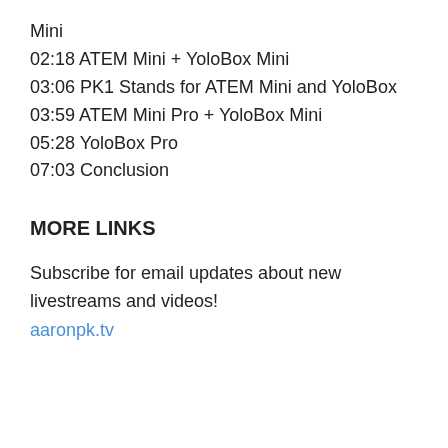Mini
02:18 ATEM Mini + YoloBox Mini
03:06 PK1 Stands for ATEM Mini and YoloBox
03:59 ATEM Mini Pro + YoloBox Mini
05:28 YoloBox Pro
07:03 Conclusion
MORE LINKS
Subscribe for email updates about new livestreams and videos!
aaronpk.tv